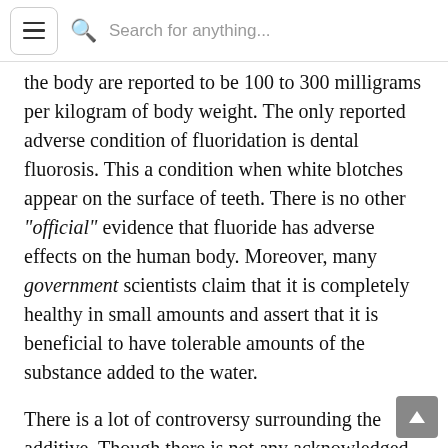Search for anything...
the body are reported to be 100 to 300 milligrams per kilogram of body weight. The only reported adverse condition of fluoridation is dental fluorosis. This a condition when white blotches appear on the surface of teeth. There is no other "official" evidence that fluoride has adverse effects on the human body. Moreover, many government scientists claim that it is completely healthy in small amounts and assert that it is beneficial to have tolerable amounts of the substance added to the water.
There is a lot of controversy surrounding the additive. Though there is not any acknowledged research on the adverse effects of fluoride,